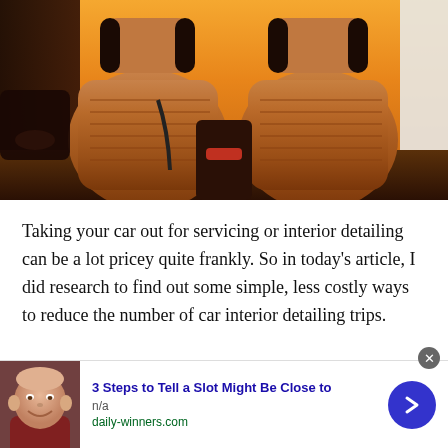[Figure (photo): Two tan/brown leather car seats visible from the front interior of a car, with a sunset visible through the windshield. The seats have quilted panels and contrast black headrests.]
Taking your car out for servicing or interior detailing can be a lot pricey quite frankly. So in today's article, I did research to find out some simple, less costly ways to reduce the number of car interior detailing trips.
[Figure (screenshot): Advertisement banner: thumbnail of an older bald man smiling, with bold blue link text '3 Steps to Tell a Slot Might Be Close to', below that 'n/a' in gray and 'daily-winners.com' in green, with a dark blue circular arrow button on the right, and an X close button at the top right.]